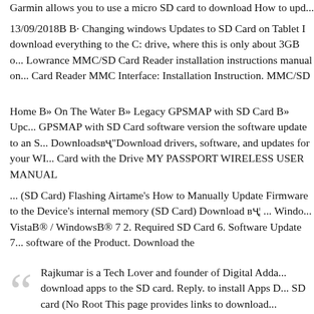Garmin allows you to use a micro SD card to download How to upd...
13/09/2018B B· Changing windows Updates to SD Card on Tablet I download everything to the C: drive, where this is only about 3GB o... Lowrance MMC/SD Card Reader installation instructions manual on... Card Reader MMC Interface: Installation Instruction. MMC/SD
Home B» On The Water B» Legacy GPSMAP with SD Card B» Upc... GPSMAP with SD Card software version the software update to an S... Downloadsвҷ"Download drivers, software, and updates for your WI... Card with the Drive MY PASSPORT WIRELESS USER MANUAL
... (SD Card) Flashing Airtame's How to Manually Update Firmware to the Device's internal memory (SD Card) Download вҷ¦ ... Windows VistaB® / WindowsB® 7 2. Required SD Card 6. Software Update 7... software of the Product. Download the
Rajkumar is a Tech Lover and founder of Digital Adda... download apps to the SD card. Reply. to install Apps D... SD card (No Root This page provides links to download...